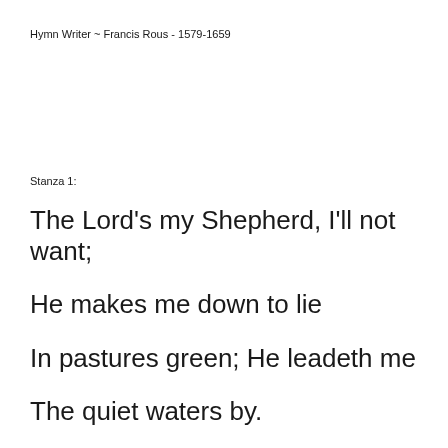Hymn Writer ~ Francis Rous - 1579-1659
Stanza 1:
The Lord's my Shepherd, I'll not want;
He makes me down to lie
In pastures green; He leadeth me
The quiet waters by.